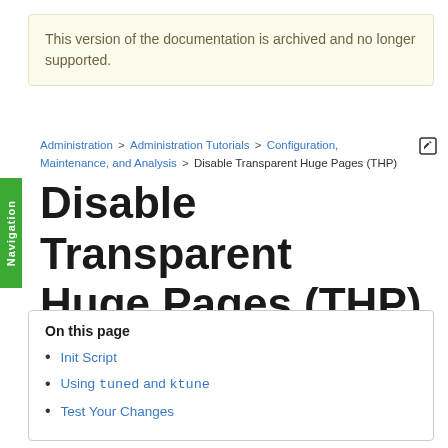This version of the documentation is archived and no longer supported.
Administration > Administration Tutorials > Configuration, Maintenance, and Analysis > Disable Transparent Huge Pages (THP)
Disable Transparent Huge Pages (THP)
On this page
Init Script
Using tuned and ktune
Test Your Changes